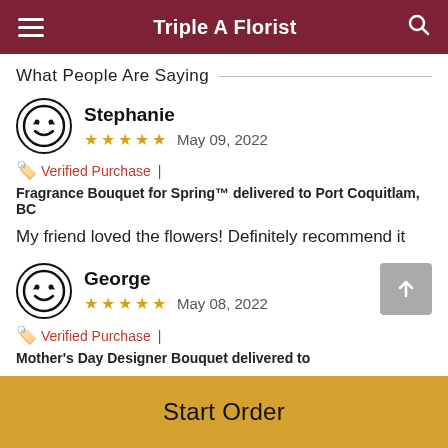Triple A Florist
What People Are Saying
Stephanie
★★★★★ May 09, 2022
🏷️ Verified Purchase | Fragrance Bouquet for Spring™ delivered to Port Coquitlam, BC
My friend loved the flowers! Definitely recommend it
George
★★★★★ May 08, 2022
🏷️ Verified Purchase | Mother's Day Designer Bouquet delivered to
Start Order